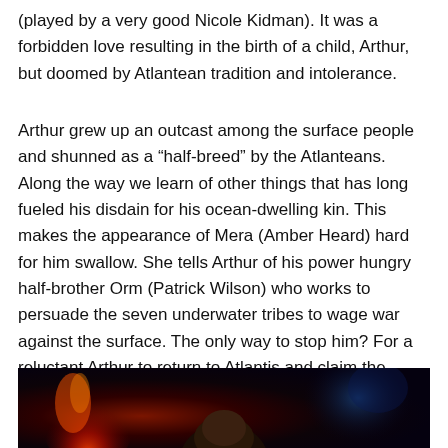(played by a very good Nicole Kidman). It was a forbidden love resulting in the birth of a child, Arthur, but doomed by Atlantean tradition and intolerance.
Arthur grew up an outcast among the surface people and shunned as a “half-breed” by the Atlanteans. Along the way we learn of other things that has long fueled his disdain for his ocean-dwelling kin. This makes the appearance of Mera (Amber Heard) hard for him swallow. She tells Arthur of his power hungry half-brother Orm (Patrick Wilson) who works to persuade the seven underwater tribes to wage war against the surface. The only way to stop him? For a reluctant Arthur to return to Atlantis and claim the throne from Orm.
[Figure (photo): Dark cinematic scene with red and blue glowing lights, a person visible against a dark background.]